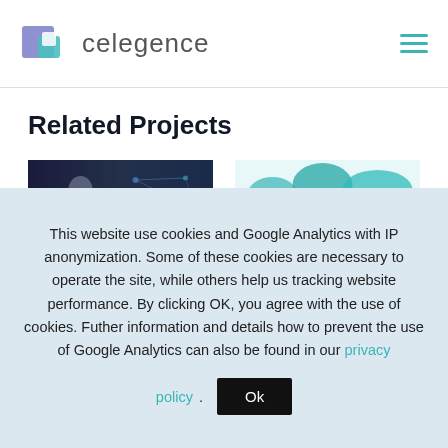celegence
Related Projects
[Figure (photo): Two project thumbnail images side by side: left shows a person with digital network overlay, right shows a teal world map with a person silhouette]
This website use cookies and Google Analytics with IP anonymization. Some of these cookies are necessary to operate the site, while others help us tracking website performance. By clicking OK, you agree with the use of cookies. Futher information and details how to prevent the use of Google Analytics can also be found in our privacy policy.